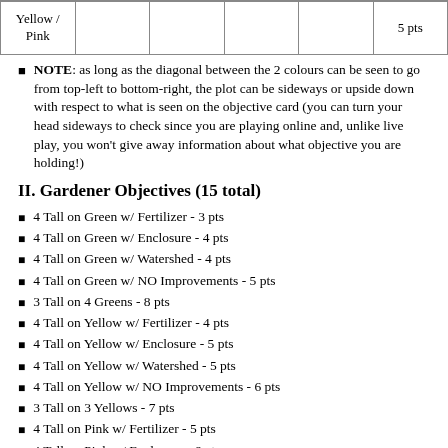|  |  |  |  |  |  |
| --- | --- | --- | --- | --- | --- |
| Yellow /
Pink |  |  |  |  | 5 pts |
NOTE: as long as the diagonal between the 2 colours can be seen to go from top-left to bottom-right, the plot can be sideways or upside down with respect to what is seen on the objective card (you can turn your head sideways to check since you are playing online and, unlike live play, you won't give away information about what objective you are holding!)
II. Gardener Objectives (15 total)
4 Tall on Green w/ Fertilizer - 3 pts
4 Tall on Green w/ Enclosure - 4 pts
4 Tall on Green w/ Watershed - 4 pts
4 Tall on Green w/ NO Improvements - 5 pts
3 Tall on 4 Greens - 8 pts
4 Tall on Yellow w/ Fertilizer - 4 pts
4 Tall on Yellow w/ Enclosure - 5 pts
4 Tall on Yellow w/ Watershed - 5 pts
4 Tall on Yellow w/ NO Improvements - 6 pts
3 Tall on 3 Yellows - 7 pts
4 Tall on Pink w/ Fertilizer - 5 pts
4 Tall on Pink w/ Enclosure - 6 pts
4 Tall on Pink w/ Watershed - 6 pts